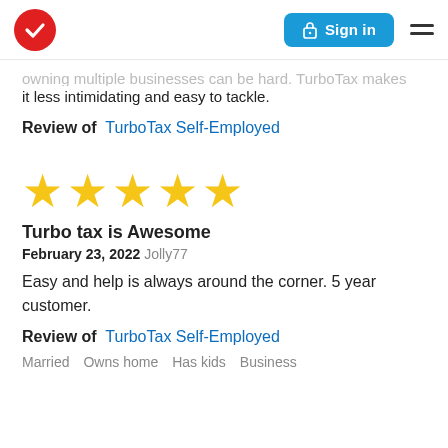TurboTax logo | Sign in | Menu
...owning multiple businesses can be hard. TurboTax makes it less intimidating and easy to tackle.
Review of  TurboTax Self-Employed
[Figure (other): Five yellow star rating]
Turbo tax is Awesome
February 23, 2022 Jolly77
Easy and help is always around the corner. 5 year customer.
Review of  TurboTax Self-Employed
Married   Owns home   Has kids   Business